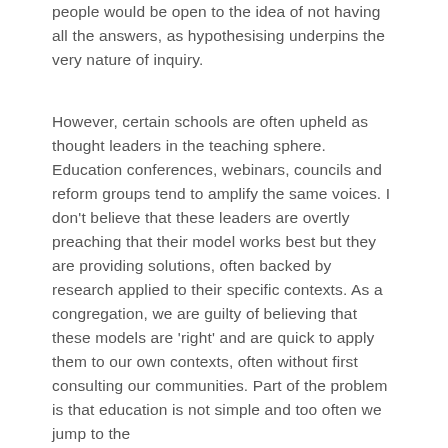people would be open to the idea of not having all the answers, as hypothesising underpins the very nature of inquiry.
However, certain schools are often upheld as thought leaders in the teaching sphere. Education conferences, webinars, councils and reform groups tend to amplify the same voices. I don't believe that these leaders are overtly preaching that their model works best but they are providing solutions, often backed by research applied to their specific contexts. As a congregation, we are guilty of believing that these models are ‘right’ and are quick to apply them to our own contexts, often without first consulting our communities. Part of the problem is that education is not simple and too often we jump to the